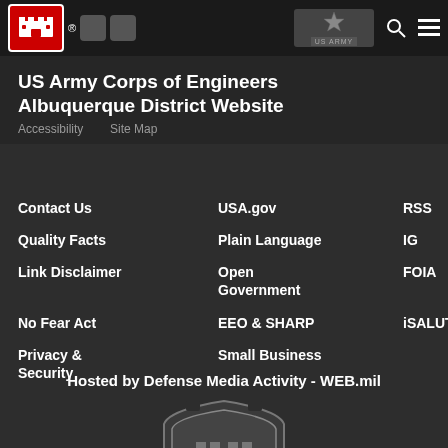[Figure (logo): US Army Corps of Engineers castle logo in red box, top left navigation bar]
US Army Corps of Engineers
Albuquerque District Website
Accessibility   Site Map
Contact Us
USA.gov
RSS
Quality Facts
Plain Language
IG
Link Disclaimer
Open Government
FOIA
No Fear Act
EEO & SHARP
iSALUTE
Privacy & Security
Small Business
Hosted by Defense Media Activity - WEB.mil
[Figure (logo): US Army Corps of Engineers shield/crest with castle and ESSAYONS banner at bottom, gray tone]